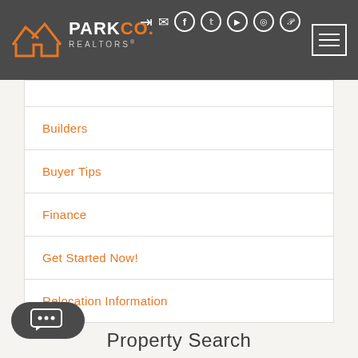Park Co. Realtors - navigation header with social icons and hamburger menu
Builders
Buyer Tips
Finance
Get Started Now!
Relocation Information
Property Search